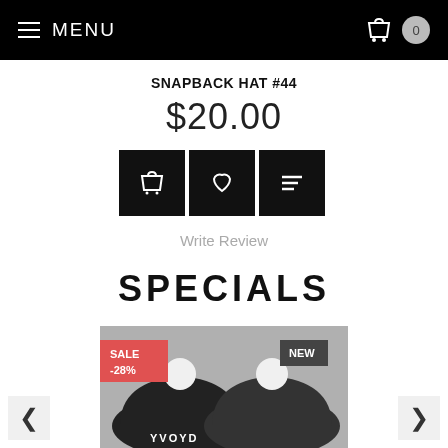MENU
SNAPBACK HAT #44
$20.00
Write Review
SPECIALS
[Figure (photo): Two dark knit beanies with white pom-poms and text on the brim, with SALE -28% badge and NEW badge overlaid]